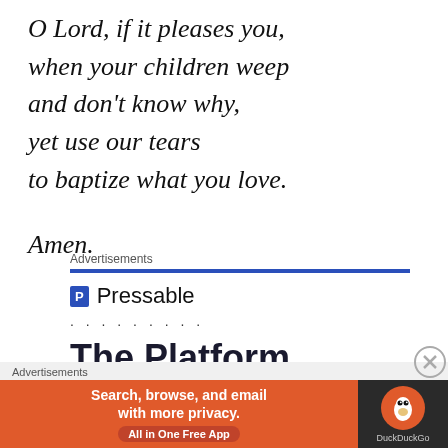O Lord, if it pleases you,
when your children weep
and don't know why,
yet use our tears
to baptize what you love.

Amen.
Advertisements
[Figure (other): Pressable advertisement with blue header line, Pressable logo and name, dotted line, and 'The Platform' heading in large bold text]
Advertisements
[Figure (other): DuckDuckGo advertisement banner: orange left panel with text 'Search, browse, and email with more privacy. All in One Free App', dark right panel with DuckDuckGo logo]